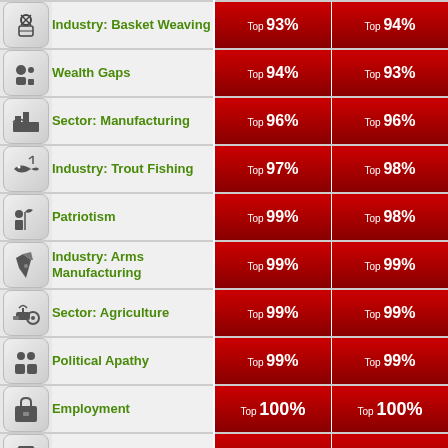| Icon | Category | Score1 | Score2 |
| --- | --- | --- | --- |
| [basket weaving icon] | Industry: Basket Weaving | Top 93% | Top 94% |
| [wealth gaps icon] | Wealth Gaps | Top 94% | Top 93% |
| [manufacturing icon] | Sector: Manufacturing | Top 96% | Top 96% |
| [trout fishing icon] | Industry: Trout Fishing | Top 97% | Top 98% |
| [patriotism icon] | Patriotism | Top 99% | Top 98% |
| [arms manufacturing icon] | Industry: Arms Manufacturing | Top 99% | Top 99% |
| [agriculture icon] | Sector: Agriculture | Top 99% | Top 99% |
| [political apathy icon] | Political Apathy | Top 99% | Top 99% |
| [employment icon] | Employment | Top 100% | Top 100% |
| [retail icon] | Industry: Retail | Top 100% | Top 100% |